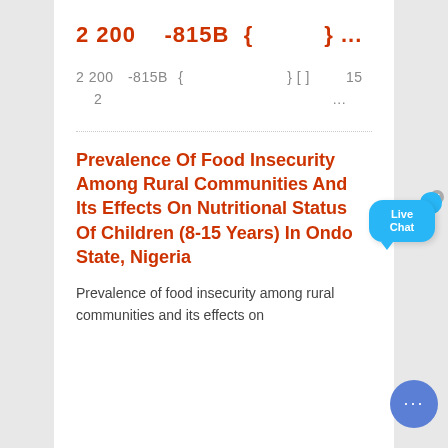2 200    -815B  {              } ...
2 200  -815B  {              } [ ]      15
  2                                    ...
Prevalence Of Food Insecurity Among Rural Communities And Its Effects On Nutritional Status Of Children (8-15 Years) In Ondo State, Nigeria
Prevalence of food insecurity among rural communities and its effects on